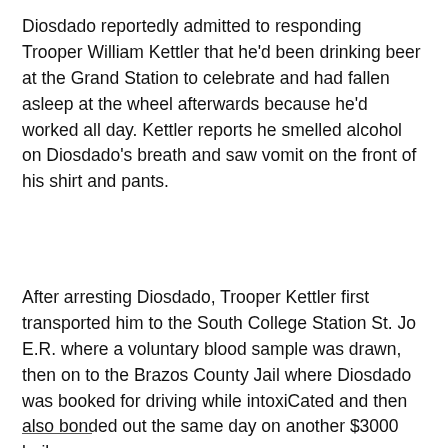Diosdado reportedly admitted to responding Trooper William Kettler that he'd been drinking beer at the Grand Station to celebrate and had fallen asleep at the wheel afterwards because he'd worked all day. Kettler reports he smelled alcohol on Diosdado's breath and saw vomit on the front of his shirt and pants.
After arresting Diosdado, Trooper Kettler first transported him to the South College Station St. Jo E.R. where a voluntary blood sample was drawn, then on to the Brazos County Jail where Diosdado was booked for driving while intoxiCated and then also bonded out the same day on another $3000 bail.